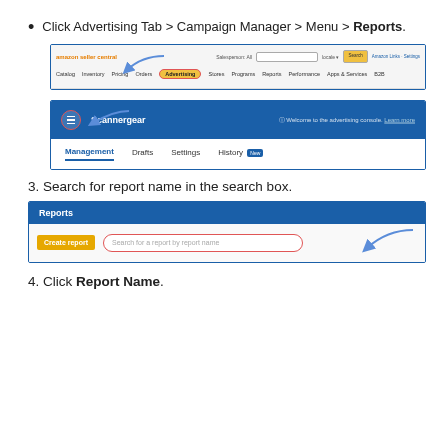Click Advertising Tab > Campaign Manager > Menu > Reports.
[Figure (screenshot): Amazon Seller Central navigation bar with Advertising tab circled and an arrow pointing to it]
[Figure (screenshot): Campaign Manager interface showing the menu icon and tabs: Management, Drafts, Settings, History (New). Arrow pointing to menu icon.]
3. Search for report name in the search box.
[Figure (screenshot): Reports section with Create report button and search field 'Search for a report by report name' circled with arrow pointing to it]
4. Click Report Name.